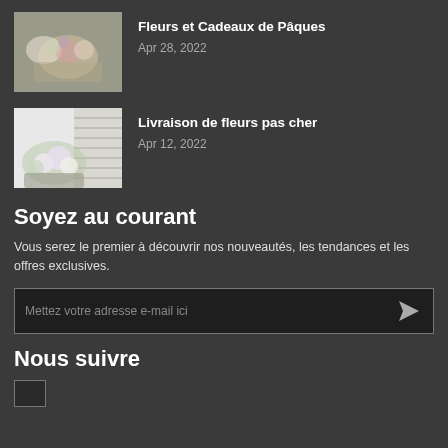[Figure (photo): Thumbnail image of Easter flowers and gifts arrangement]
Fleurs et Cadeaux de Pâques
Apr 28, 2022
[Figure (photo): Thumbnail image of flower bouquet arrangement on a table]
Livraison de fleurs pas cher
Apr 12, 2022
Soyez au courant
Vous serez le premier à découvrir nos nouveautés, les tendances et les offres exclusives.
Mettez votre adresse e-mail ici
Nous suivre